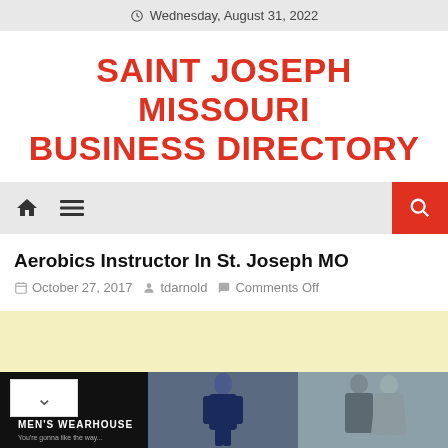Wednesday, August 31, 2022
SAINT JOSEPH MISSOURI BUSINESS DIRECTORY
Aerobics Instructor In St. Joseph MO
October 27, 2017   tdarnold   Comments Off
[Figure (other): Advertisement banner with pale yellow background]
[Figure (photo): Bottom image strip with Men's Wearhouse logo on black background, man in suit, and couple in formal wear]